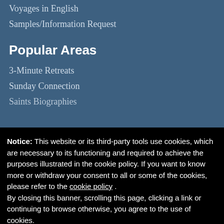Voyages in English
Samples/Information Request
Popular Areas
3-Minute Retreats
Sunday Connection
Saints Biographies
Notice: This website or its third-party tools use cookies, which are necessary to its functioning and required to achieve the purposes illustrated in the cookie policy. If you want to know more or withdraw your consent to all or some of the cookies, please refer to the cookie policy . By closing this banner, scrolling this page, clicking a link or continuing to browse otherwise, you agree to the use of cookies.
OK